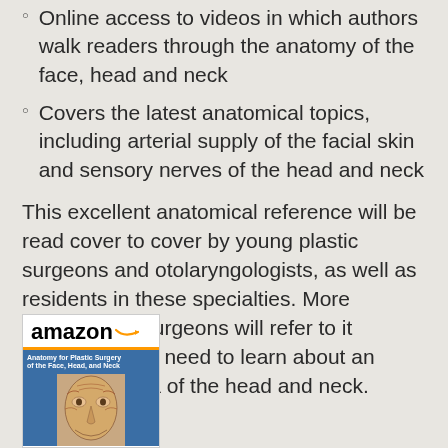Online access to videos in which authors walk readers through the anatomy of the face, head and neck
Covers the latest anatomical topics, including arterial supply of the facial skin and sensory nerves of the head and neck
This excellent anatomical reference will be read cover to cover by young plastic surgeons and otolaryngologists, as well as residents in these specialties. More experienced surgeons will refer to it whenever they need to learn about an unfamiliar area of the head and neck.
[Figure (other): Amazon product listing showing book cover for 'Anatomy for Plastic Surgery of the Face, Head, and Neck' with Amazon logo and orange underline banner, book cover showing facial anatomy illustration]